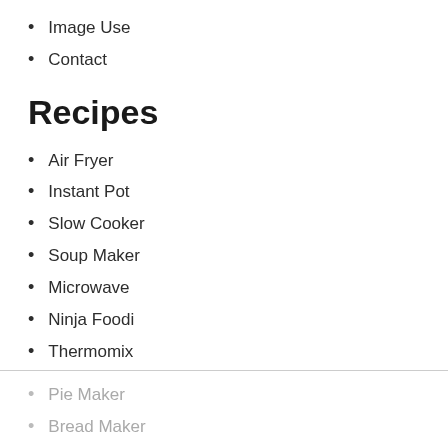Image Use
Contact
Recipes
Air Fryer
Instant Pot
Slow Cooker
Soup Maker
Microwave
Ninja Foodi
Thermomix
Pie Maker
Bread Maker